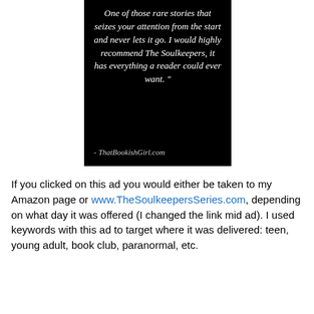[Figure (illustration): Black background promotional image with white italic serif text quote: 'One of those rare stories that seizes your attention from the start and never lets it go. I would highly recommend The Soulkeepers, it has everything a reader could ever want.' Attribution: - ThatBookishGirl.com]
If you clicked on this ad you would either be taken to my Amazon page or www.TheSoulkeepersSeries.com, depending on what day it was offered (I changed the link mid ad). I used keywords with this ad to target where it was delivered: teen, young adult, book club, paranormal, etc.